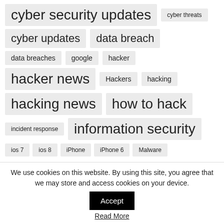cyber security updates
cyber threats
cyber updates
data breach
data breaches
google
hacker
hacker news
Hackers
hacking
hacking news
how to hack
incident response
information security
ios 7
ios 8
iPhone
iPhone 6
Malware
We use cookies on this website. By using this site, you agree that we may store and access cookies on your device.
Accept
Read More